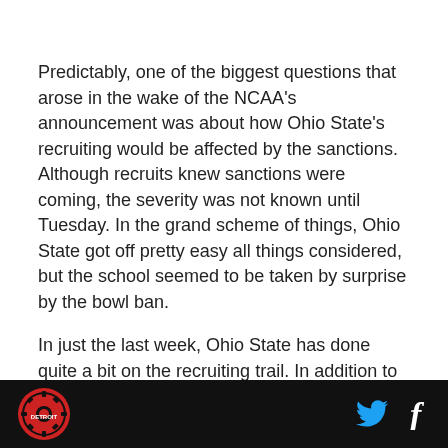Predictably, one of the biggest questions that arose in the wake of the NCAA's announcement was about how Ohio State's recruiting would be affected by the sanctions. Although recruits knew sanctions were coming, the severity was not known until Tuesday. In the grand scheme of things, Ohio State got off pretty easy all things considered, but the school seemed to be taken by surprise by the bowl ban.
In just the last week, Ohio State has done quite a bit on the recruiting trail. In addition to getting Bri'onte Dunn to reaffirm his commitment from signed his big to...
[Figure (logo): SB Nation Detroit circular logo in red and black on dark footer bar]
[Figure (logo): Twitter bird icon and Facebook 'f' icon in white/blue on dark footer bar]